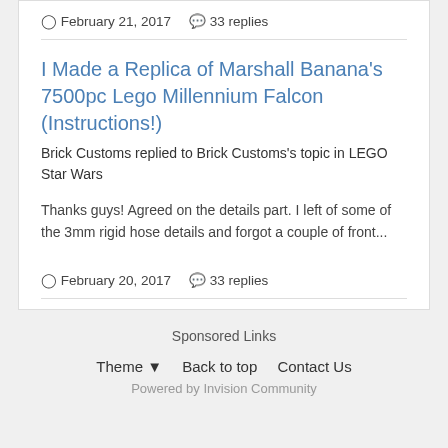February 21, 2017   33 replies
I Made a Replica of Marshall Banana's 7500pc Lego Millennium Falcon (Instructions!)
Brick Customs replied to Brick Customs's topic in LEGO Star Wars
Thanks guys! Agreed on the details part. I left of some of the 3mm rigid hose details and forgot a couple of front...
February 20, 2017   33 replies
Sponsored Links
Theme ▾   Back to top   Contact Us
Powered by Invision Community